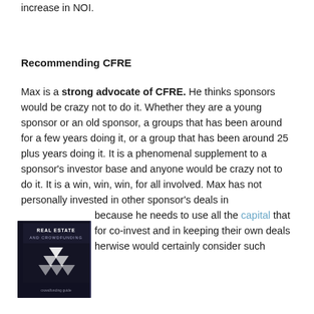increase in NOI.
Recommending CFRE
Max is a strong advocate of CFRE. He thinks sponsors would be crazy not to do it. Whether they are a young sponsor or an old sponsor, a groups that has been around for a few years doing it, or a group that has been around 25 plus years doing it. It is a phenomenal supplement to a sponsor's investor base and anyone would be crazy not to do it. It is a win, win, win, for all involved. Max has not personally invested in other sponsor's deals in because he needs to use all the capital that for co-invest and in keeping their own deals herwise would certainly consider such investing.
[Figure (photo): Book cover: Real Estate and Crowdfunding with white arrows pointing downward on dark background]